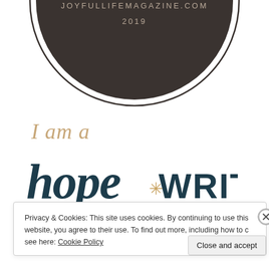[Figure (logo): Circular dark brown logo badge with text JOYFULLIFEMAGAZINE.COM and 2019 in the center, with thin circle border outline below]
I am a
[Figure (logo): Hope*WRITER logo in dark teal hand-lettered script with gold asterisk between hope and WRITER]
Privacy & Cookies: This site uses cookies. By continuing to use this website, you agree to their use. To find out more, including how to control cookies, see here: Cookie Policy
Close and accept